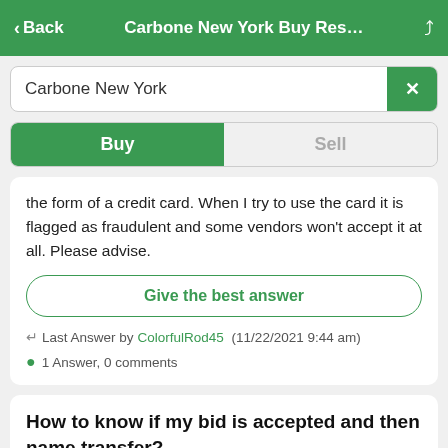< Back   Carbone New York Buy Res...   [share icon]
Carbone New York
Buy   Sell
the form of a credit card. When I try to use the card it is flagged as fraudulent and some vendors won't accept it at all. Please advise.
Give the best answer
↩ Last Answer by ColorfulRod45 (11/22/2021 9:44 am)
1 Answer, 0 comments
How to know if my bid is accepted and then name transfer?
Question from AstuteCork64 (11/10/2021 5:04 pm)